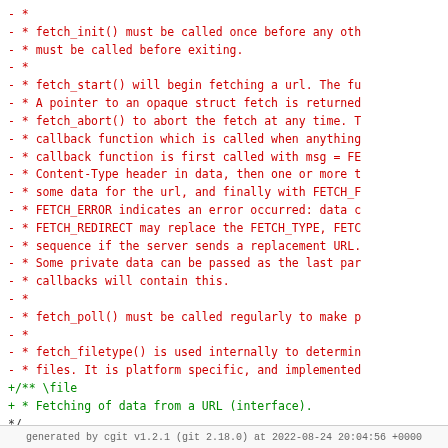Code diff showing removed lines (red) and added lines (green) for fetch API documentation, followed by #ifndef preprocessor guard and a page footer.
generated by cgit v1.2.1 (git 2.18.0) at 2022-08-24 20:04:56 +0000